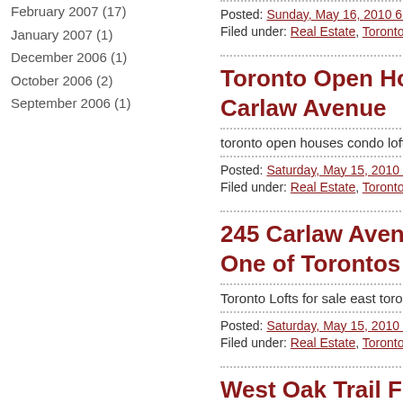February 2007 (17)
January 2007 (1)
December 2006 (1)
October 2006 (2)
September 2006 (1)
Posted: Sunday, May 16, 2010 6:07 P
Filed under: Real Estate, Toronto GTA Hor
Toronto Open House in Le Carlaw Avenue
toronto open houses condo lofts in e
Posted: Saturday, May 15, 2010 5:03
Filed under: Real Estate, Toronto GTA Hor
245 Carlaw Avenue Authe One of Torontos Best Pric
Toronto Lofts for sale east toronto Re
Posted: Saturday, May 15, 2010 4:05
Filed under: Real Estate, Toronto GTA Hor
West Oak Trail Freehold T UNIT!